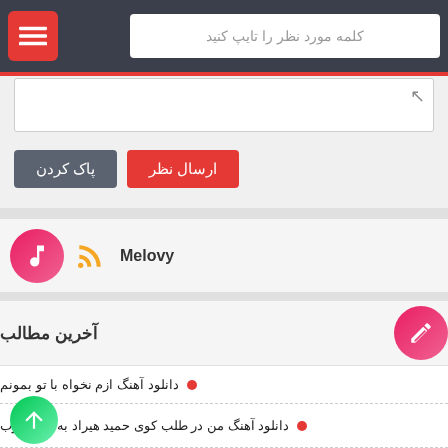کلمه مورد نظر را تایپ کنید
[Figure (screenshot): Text area input field]
ارسال نظر | پاک کردن
Melovy
آخرین مطالب
دانلود آهنگ ازم نخواه با تو بمونم
دانلود آهنگ من در طلب کوی حمید هیراد به نام آشوب
پایه نشو هرگز، شبم تار و تاریکه رضا یزدانی
دانلود آهنگ محسن چاوشی به نام بند باز